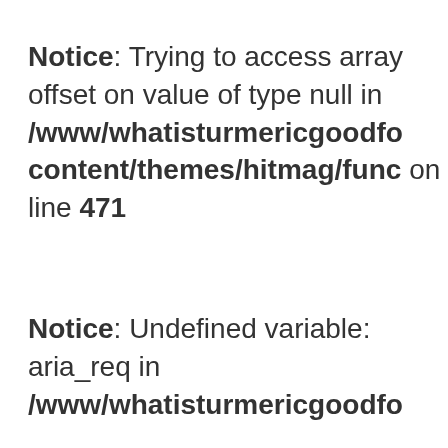Notice: Trying to access array offset on value of type null in /www/whatisturmericgoodfo content/themes/hitmag/func on line 471
Notice: Undefined variable: aria_req in /www/whatisturmericgoodfo